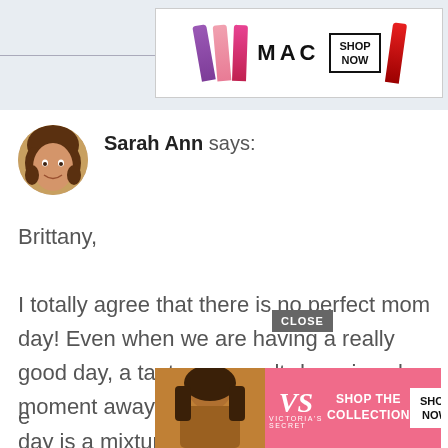[Figure (screenshot): MAC cosmetics advertisement banner with lipsticks, MAC logo, and SHOP NOW button]
Sarah Ann says:
[Figure (photo): Round avatar photo of a young girl with curly hair]
Brittany,

I totally agree that there is no perfect mom day! Even when we are having a really good day, a tantrum or melt-down is only a moment away. You are so right that our day is a mixture of all of these
[Figure (screenshot): Victoria's Secret advertisement banner with model, VS logo, SHOP THE COLLECTION, and SHOP NOW button. Overlaid CLOSE button.]